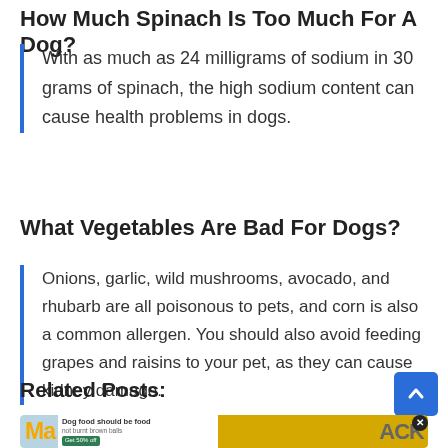How Much Spinach Is Too Much For A Dog?
With as much as 24 milligrams of sodium in 30 grams of spinach, the high sodium content can cause health problems in dogs.
What Vegetables Are Bad For Dogs?
Onions, garlic, wild mushrooms, avocado, and rhubarb are all poisonous to pets, and corn is also a common allergen. You should also avoid feeding grapes and raisins to your pet, as they can cause kidney damage.
Related Posts:
[Figure (photo): Related posts image strip showing two article thumbnails with dog food advertisement overlay]